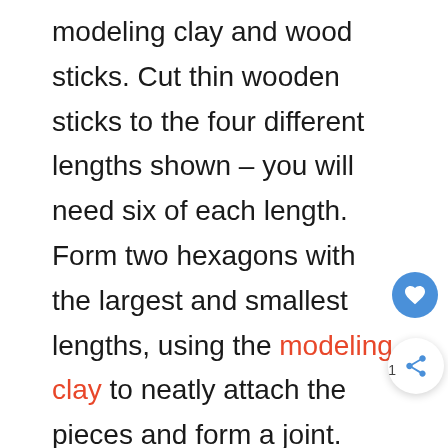modeling clay and wood sticks. Cut thin wooden sticks to the four different lengths shown – you will need six of each length. Form two hexagons with the largest and smallest lengths, using the modeling clay to neatly attach the pieces and form a joint. Next, take the 18-centimeter pieces and attach one to each joint of the large hexagon with more modeling clay, forming a smooth joint. Place the smaller hexagon on the top and attach the other end of the sticks to each joint in the same fashion. Let it dry for 5 minutes. Take the remaining